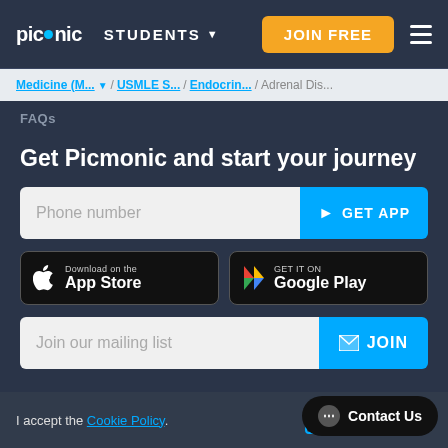picmonic | STUDENTS | JOIN FREE
Medicine (M... / USMLE S... / Endocrin... / Adrenal Dis...
FAQs
Get Picmonic and start your journey
Phone number | ► GET APP
[Figure (screenshot): Download on the App Store button (black rounded rectangle with Apple logo)]
[Figure (screenshot): GET IT ON Google Play button (black rounded rectangle with Google Play logo)]
Join our mailing list | ✉ JOIN
I accept the Cookie Policy. OK  ...  Contact Us